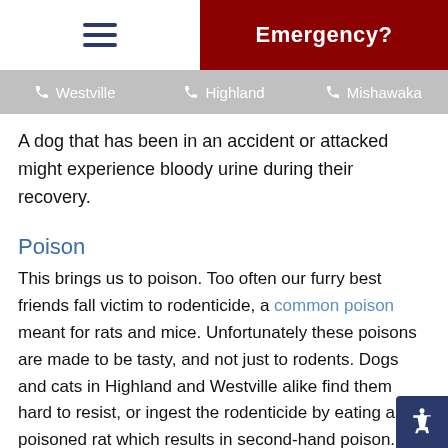Emergency?
Westville | Highland | Mishawaka
A dog that has been in an accident or attacked might experience bloody urine during their recovery.
Poison
This brings us to poison. Too often our furry best friends fall victim to rodenticide, a common poison meant for rats and mice. Unfortunately these poisons are made to be tasty, and not just to rodents. Dogs and cats in Highland and Westville alike find them hard to resist, or ingest the rodenticide by eating a poisoned rat which results in second-hand poison.